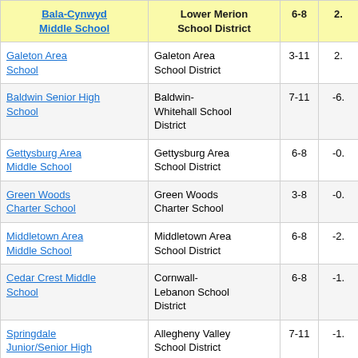| Bala-Cynwyd Middle School | Lower Merion School District | 6-8 | 2. |
| --- | --- | --- | --- |
| Galeton Area School | Galeton Area School District | 3-11 | 2. |
| Baldwin Senior High School | Baldwin-Whitehall School District | 7-11 | -6. |
| Gettysburg Area Middle School | Gettysburg Area School District | 6-8 | -0. |
| Green Woods Charter School | Green Woods Charter School | 3-8 | -0. |
| Middletown Area Middle School | Middletown Area School District | 6-8 | -2. |
| Cedar Crest Middle School | Cornwall-Lebanon School District | 6-8 | -1. |
| Springdale Junior/Senior High | Allegheny Valley School District | 7-11 | -1. |